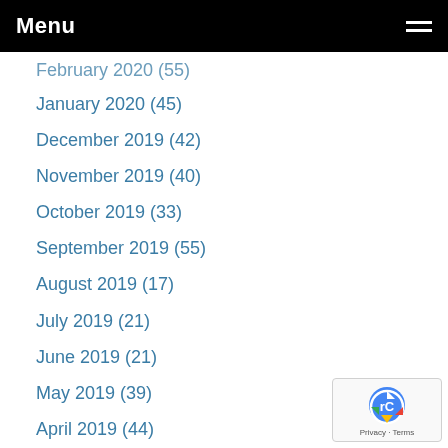Menu
February 2020 (55)
January 2020 (45)
December 2019 (42)
November 2019 (40)
October 2019 (33)
September 2019 (55)
August 2019 (17)
July 2019 (21)
June 2019 (21)
May 2019 (39)
April 2019 (44)
March 2019 (47)
February 2019 (22)
January 2019 (14)